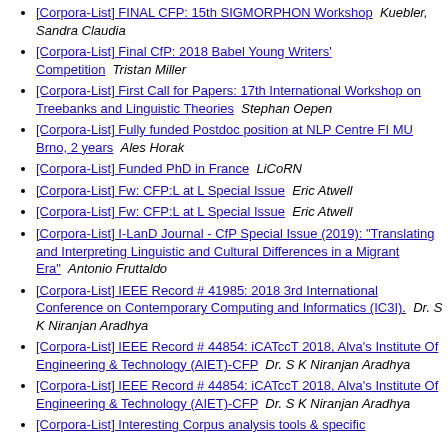[Corpora-List] FINAL CFP: 15th SIGMORPHON Workshop   Kuebler, Sandra Claudia
[Corpora-List] Final CfP: 2018 Babel Young Writers' Competition   Tristan Miller
[Corpora-List] First Call for Papers: 17th International Workshop on Treebanks and Linguistic Theories   Stephan Oepen
[Corpora-List] Fully funded Postdoc position at NLP Centre FI MU Brno, 2 years   Ales Horak
[Corpora-List] Funded PhD in France   LiCoRN
[Corpora-List] Fw: CFP:L at L Special Issue   Eric Atwell
[Corpora-List] Fw: CFP:L at L Special Issue   Eric Atwell
[Corpora-List] I-LanD Journal - CfP Special Issue (2019): "Translating and Interpreting Linguistic and Cultural Differences in a Migrant Era"   Antonio Fruttaldo
[Corpora-List] IEEE Record # 41985: 2018 3rd International Conference on Contemporary Computing and Informatics (IC3I).   Dr. S K Niranjan Aradhya
[Corpora-List] IEEE Record # 44854: iCATccT 2018, Alva's Institute Of Engineering & Technology (AIET)-CFP   Dr. S K Niranjan Aradhya
[Corpora-List] IEEE Record # 44854: iCATccT 2018, Alva's Institute Of Engineering & Technology (AIET)-CFP   Dr. S K Niranjan Aradhya
[Corpora-List] Interesting Corpus analysis tools & specific